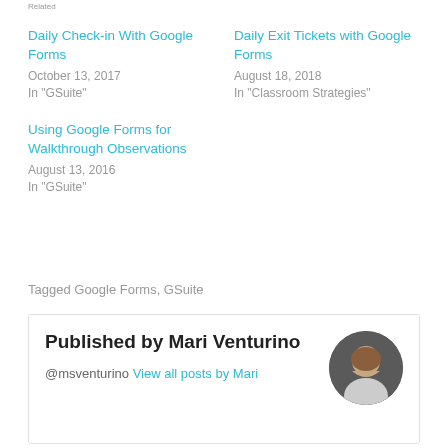Related
Daily Check-in With Google Forms
October 13, 2017
In "GSuite"
Daily Exit Tickets with Google Forms
August 18, 2018
In "Classroom Strategies"
Using Google Forms for Walkthrough Observations
August 13, 2016
In "GSuite"
Tagged Google Forms, GSuite
Published by Mari Venturino
@msventurino View all posts by Mari